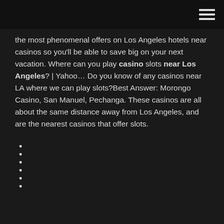the most phenomenal offers on Los Angeles hotels near casinos so you'll be able to save big on your next vacation. Where can you play casino slots near Los Angeles? | Yahoo… Do you know of any casinos near LA where we can play slots?Best Answer: Morongo Casino, San Manuel, Pechanga. These casinos are all about the same distance away from Los Angeles, and are the nearest casinos that offer slots.